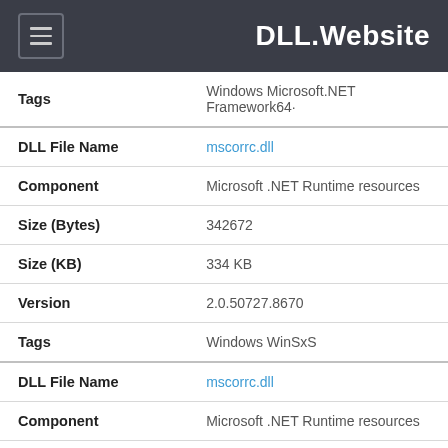DLL.Website
| Field | Value |
| --- | --- |
| Tags | Windows Microsoft.NET Framework64· |
| DLL File Name | mscorrc.dll |
| Component | Microsoft .NET Runtime resources |
| Size (Bytes) | 342672 |
| Size (KB) | 334 KB |
| Version | 2.0.50727.8670 |
| Tags | Windows WinSxS |
| DLL File Name | mscorrc.dll |
| Component | Microsoft .NET Runtime resources |